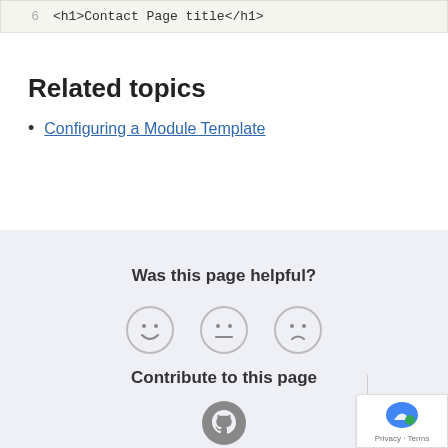[Figure (screenshot): Code block showing line 6 with HTML: <h1>Contact Page title</h1>]
Related topics
Configuring a Module Template
Was this page helpful?
[Figure (other): Three emoji face icons: happy, neutral, confused]
Contribute to this page
[Figure (logo): GitHub logo icon]